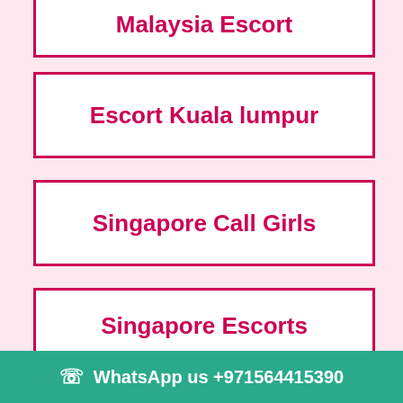Malaysia Escort
Escort Kuala lumpur
Singapore Call Girls
Singapore Escorts
Kuala lumpur Escort
WhatsApp us +971564415390